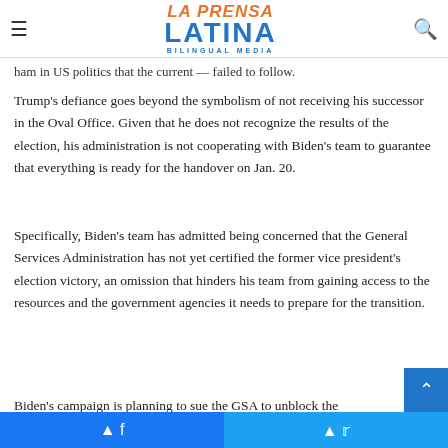La Prensa Latina Bilingual Media
ham in US politics that the current — failed to follow.
Trump's defiance goes beyond the symbolism of not receiving his successor in the Oval Office. Given that he does not recognize the results of the election, his administration is not cooperating with Biden's team to guarantee that everything is ready for the handover on Jan. 20.
Specifically, Biden's team has admitted being concerned that the General Services Administration has not yet certified the former vice president's election victory, an omission that hinders his team from gaining access to the resources and the government agencies it needs to prepare for the transition.
Biden's campaign is planning to sue the GSA to unblock the
Facebook  Twitter